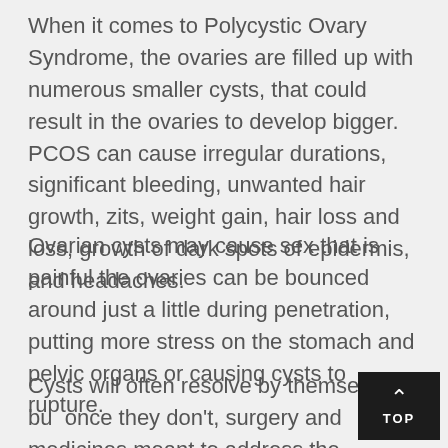When it comes to Polycystic Ovary Syndrome, the ovaries are filled up with numerous smaller cysts, that could result in the ovaries to develop bigger. PCOS can cause irregular durations, significant bleeding, unwanted hair growth, zits, weight gain, hair loss and loss, growth of dark spots of epidermis, and headaches.
Ovarian cysts may cause sex that is painful the ovaries can be bounced around just a little during penetration, putting more stress on the stomach and pelvic organs or causing cysts to rupture.
Cysts will often resolve by themselves, but once they don't, surgery and medicines meant to address the hormones instability